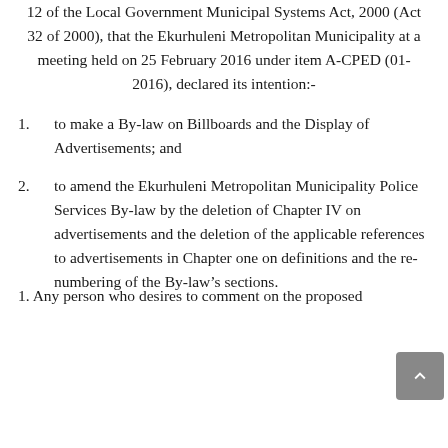12 of the Local Government Municipal Systems Act, 2000 (Act 32 of 2000), that the Ekurhuleni Metropolitan Municipality at a meeting held on 25 February 2016 under item A-CPED (01-2016), declared its intention:-
1.    to make a By-law on Billboards and the Display of Advertisements; and
2.    to amend the Ekurhuleni Metropolitan Municipality Police Services By-law by the deletion of Chapter IV on advertisements and the deletion of the applicable references to advertisements in Chapter one on definitions and the re-numbering of the By-law's sections.
1. Any person who desires to comment on the proposed